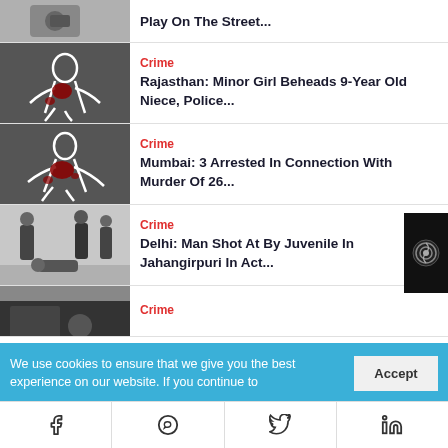[Figure (photo): Partial view of first news item thumbnail - hand holding object on street]
Play On The Street...
[Figure (photo): Crime scene chalk outline of body with red blood spots on dark pavement]
Crime
Rajasthan: Minor Girl Beheads 9-Year Old Niece, Police...
[Figure (photo): Crime scene chalk outline of body with red blood spots on dark pavement]
Crime
Mumbai: 3 Arrested In Connection With Murder Of 26...
[Figure (photo): CCTV-style photo of people in a corridor, one person on the ground]
Crime
Delhi: Man Shot At By Juvenile In Jahangirpuri In Act...
[Figure (photo): Partial view of fourth news item thumbnail - dark/blurry image]
Crime
We use cookies to ensure that we give you the best experience on our website. If you continue to
Accept